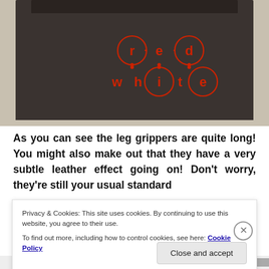[Figure (photo): Close-up photo of dark brown/black cycling shorts with red 'red white' brand logo on the leg gripper band. The logo features the text arranged in two rows with circles around certain letters. Shorts are laid flat on a light speckled background.]
As you can see the leg grippers are quite long! You might also make out that they have a very subtle leather effect going on! Don't worry, they're still your usual standard
Privacy & Cookies: This site uses cookies. By continuing to use this website, you agree to their use.
To find out more, including how to control cookies, see here: Cookie Policy
Close and accept